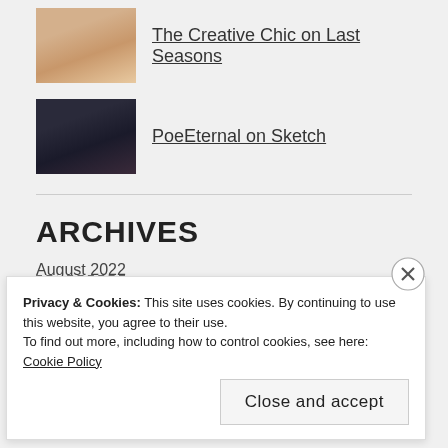The Creative Chic on Last Seasons
PoeEternal on Sketch
ARCHIVES
August 2022
July 2022
June 2022
Privacy & Cookies: This site uses cookies. By continuing to use this website, you agree to their use.
To find out more, including how to control cookies, see here: Cookie Policy
Close and accept